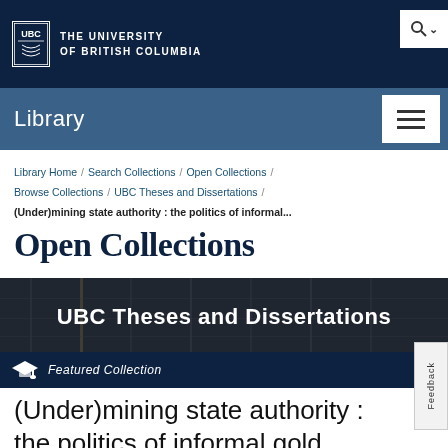THE UNIVERSITY OF BRITISH COLUMBIA
Library
Library Home / Search Collections / Open Collections / Browse Collections / UBC Theses and Dissertations /
(Under)mining state authority : the politics of informal...
Open Collections
[Figure (photo): Background photo of library shelves/filing system with text overlay: UBC Theses and Dissertations]
Featured Collection
(Under)mining state authority : the politics of informal gold